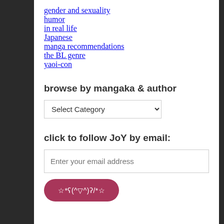gender and sexuality
humor
in real life
Japanese
manga recommendations
the BL genre
yaoi-con
browse by mangaka & author
Select Category (dropdown)
click to follow JoY by email:
Enter your email address
☆*ʕ(^▽^)ʔ/*☆